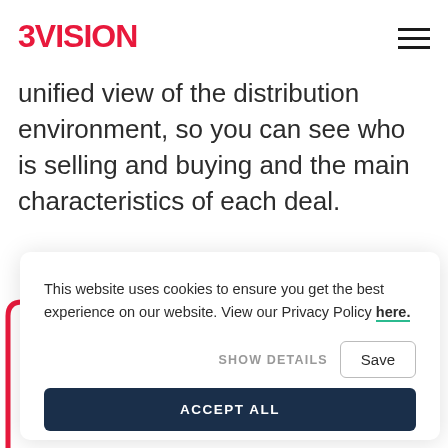3VISION
unified view of the distribution environment, so you can see who is selling and buying and the main characteristics of each deal.
This website uses cookies to ensure you get the best experience on our website. View our Privacy Policy here.
SHOW DETAILS  Save  ACCEPT ALL